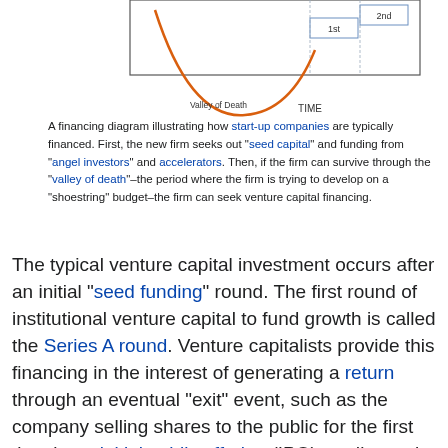[Figure (other): Top portion of a financing diagram showing a 'Valley of Death' curve over Time axis, with orange arc and labeled boxes for 1st and 2nd rounds.]
A financing diagram illustrating how start-up companies are typically financed. First, the new firm seeks out "seed capital" and funding from "angel investors" and accelerators. Then, if the firm can survive through the "valley of death"–the period where the firm is trying to develop on a "shoestring" budget–the firm can seek venture capital financing.
The typical venture capital investment occurs after an initial "seed funding" round. The first round of institutional venture capital to fund growth is called the Series A round. Venture capitalists provide this financing in the interest of generating a return through an eventual "exit" event, such as the company selling shares to the public for the first time in an initial public offering (IPO), or disposal of shares happening via a merger, via a sale to another entity such as a financial buyer in the private equity secondary market or via a sale to a trading company such as a competitor.